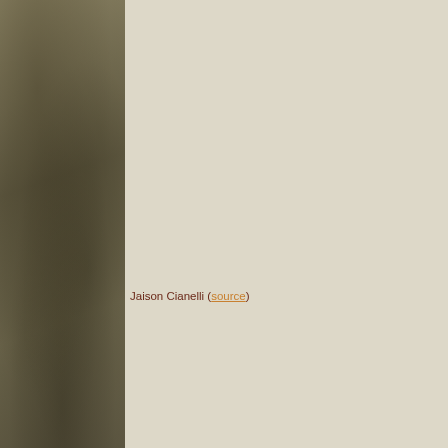[Figure (photo): Left panel showing a mottled olive-brown textured background, resembling aged or weathered surface. Right panel is a plain light beige/cream color.]
Jaison Cianelli (source)